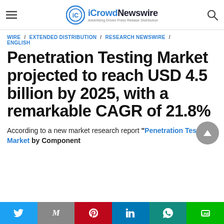iCrowdNewswire — Advertising Driven Press Release Distribution
WIRE / EXTENDED DISTRIBUTION / RESEARCH NEWSWIRE / ENGLISH
Penetration Testing Market projected to reach USD 4.5 billion by 2025, with a remarkable CAGR of 21.8%
According to a new market research report "Penetration Testing Market by Component
Share bar: Twitter, Gmail, Pinterest, LinkedIn, WhatsApp, Line